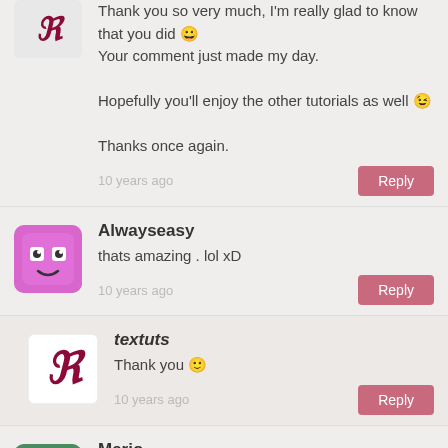Thank you so very much, I'm really glad to know that you did 😀
Your comment just made my day.

Hopefully you'll enjoy the other tutorials as well 😉

Thanks once again.
10 years ago
Reply
Alwayseasy
thats amazing . lol xD
10 years ago
Reply
textuts
Thank you 🙂
10 years ago
Reply
Mario